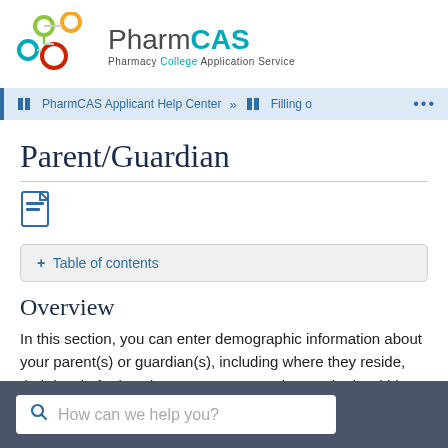[Figure (logo): PharmCAS logo with colored circles and text 'PharmCAS Pharmacy College Application Service']
PharmCAS Applicant Help Center » Filling o ...
Parent/Guardian
[Figure (other): PDF download icon]
+ Table of contents
Overview
In this section, you can enter demographic information about your parent(s) or guardian(s), including where they reside, their level of education, current occupation, and role within your household.
How can we help you?